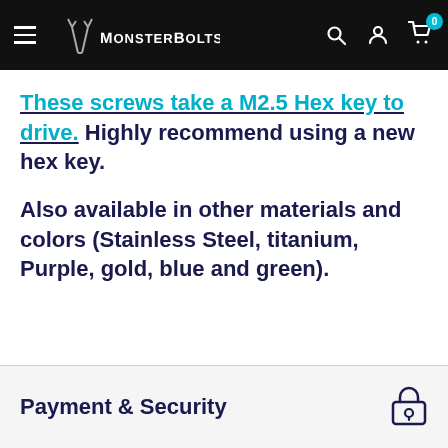MonsterBolts
These screws take a M2.5 Hex key to drive. Highly recommend using a new hex key.
Also available in other materials and colors (Stainless Steel, titanium, Purple, gold, blue and green).
Payment & Security